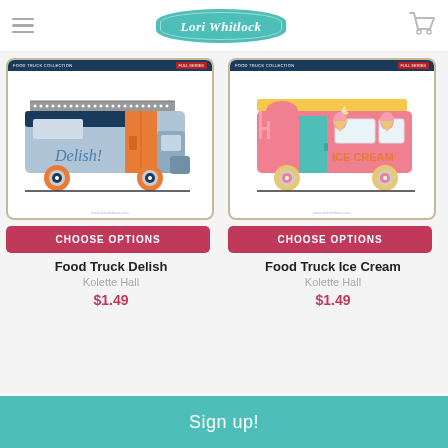Lori Whitlock
[Figure (illustration): Food truck illustration labeled 'Delish!' - blue/grey food truck with orange door and orange wheels, dotted awning on top, blue stripe awning]
[Figure (illustration): Ice cream truck illustration - pink truck with teal door, yellow awning, ice cream cone decorations, text 'ICE CREAM' on side]
CHOOSE OPTIONS
CHOOSE OPTIONS
Food Truck Delish
Kolette Hall
$1.49
Food Truck Ice Cream
Kolette Hall
$1.49
Sign up!